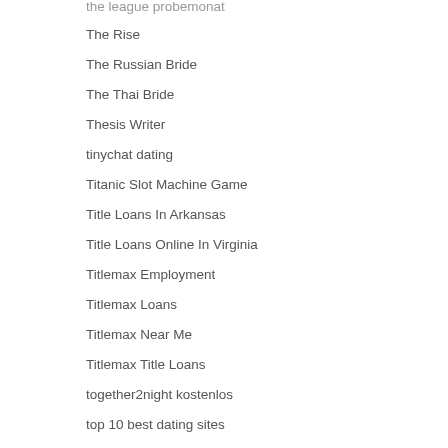the league probemonat
The Rise
The Russian Bride
The Thai Bride
Thesis Writer
tinychat dating
Titanic Slot Machine Game
Title Loans In Arkansas
Title Loans Online In Virginia
Titlemax Employment
Titlemax Loans
Titlemax Near Me
Titlemax Title Loans
together2night kostenlos
top 10 best dating sites